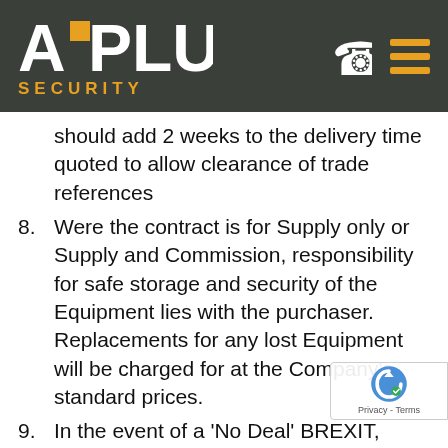[Figure (logo): A-Plus Security logo on dark green header background with phone and hamburger menu icons]
should add 2 weeks to the delivery time quoted to allow clearance of trade references
8. Were the contract is for Supply only or Supply and Commission, responsibility for safe storage and security of the Equipment lies with the purchaser. Replacements for any lost Equipment will be charged for at the Company's standard prices.
9. In the event of a 'No Deal' BREXIT, equipment delivery times may be affected. Should this scenario APS will not accept any liability for